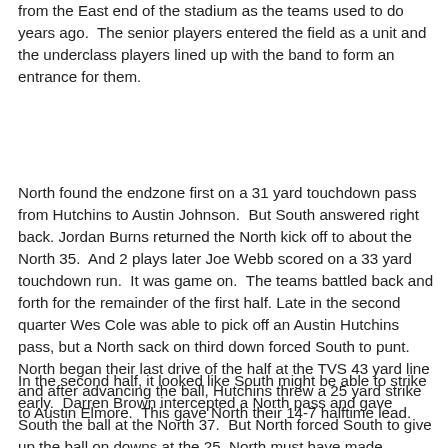from the East end of the stadium as the teams used to do years ago.  The senior players entered the field as a unit and the underclass players lined up with the band to form an entrance for them.
North found the endzone first on a 31 yard touchdown pass from Hutchins to Austin Johnson.  But South answered right back. Jordan Burns returned the North kick off to about the North 35.  And 2 plays later Joe Webb scored on a 33 yard touchdown run.  It was game on.  The teams battled back and forth for the remainder of the first half. Late in the second quarter Wes Cole was able to pick off an Austin Hutchins pass, but a North sack on third down forced South to punt.  North began their last drive of the half at the TVS 43 yard line and after advancing the ball, Hutchins threw a 25 yard strike to Austin Elmore.  This gave North their 14-7 halftime lead.
In the second half, it looked like South might be able to strike early.  Darren Brown intercepted a North pass and gave South the ball at the North 37.  But North forced South to give up the ball on downs at the 25. North must have made